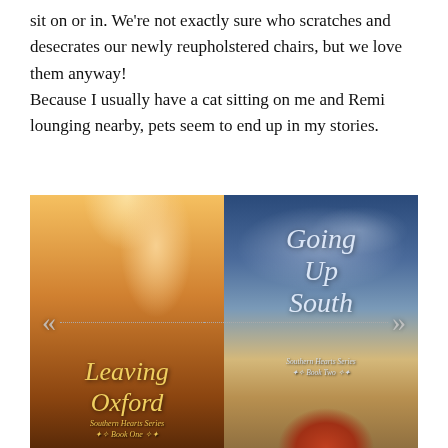sit on or in. We're not exactly sure who scratches and desecrates our newly reupholstered chairs, but we love them anyway!
Because I usually have a cat sitting on me and Remi lounging nearby, pets seem to end up in my stories.
[Figure (photo): Two book covers side by side with navigation arrows. Left: 'Leaving Oxford' (Southern Hearts Series, Book One) showing bare legs walking on a path at golden sunset. Right: 'Going Up South' (Southern Hearts Series, Book Two) showing large italic title text over a dramatic cloudy sky with a red-haired figure at the bottom.]